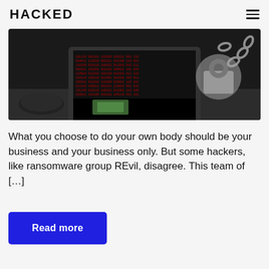HACKED
[Figure (photo): Laptop with red matrix-style text on screen next to a padlock with chain on a dark desk, representing ransomware/cybersecurity threat]
What you choose to do your own body should be your business and your business only. But some hackers, like ransomware group REvil, disagree. This team of […]
Read more